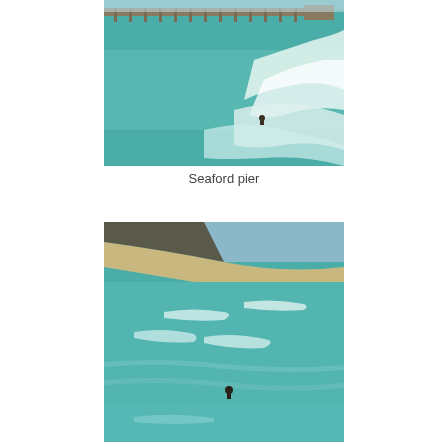[Figure (photo): Aerial view of Seaford pier with turquoise ocean water and a surfer riding a wave near the pier structure extending into the sea]
Seaford pier
[Figure (photo): Aerial view of a beach coastline with turquoise ocean water, sandy shore, and a person visible in the water near white foam waves]